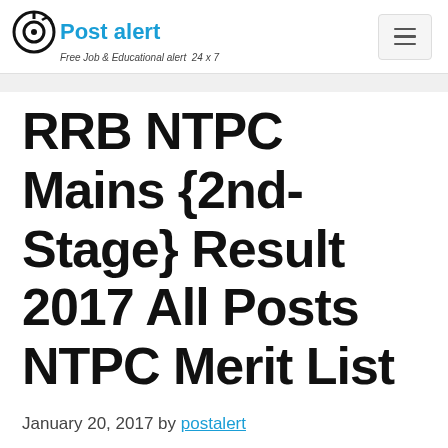Post alert — Free Job & Educational alert 24 x 7
RRB NTPC Mains {2nd-Stage} Result 2017 All Posts NTPC Merit List
January 20, 2017 by postalert